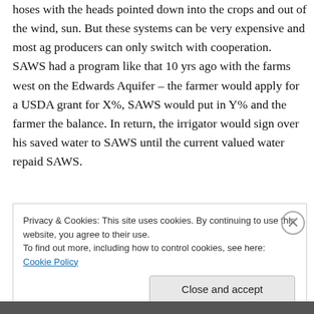hoses with the heads pointed down into the crops and out of the wind, sun. But these systems can be very expensive and most ag producers can only switch with cooperation. SAWS had a program like that 10 yrs ago with the farms west on the Edwards Aquifer – the farmer would apply for a USDA grant for X%, SAWS would put in Y% and the farmer the balance. In return, the irrigator would sign over his saved water to SAWS until the current valued water repaid SAWS.
Privacy & Cookies: This site uses cookies. By continuing to use this website, you agree to their use.
To find out more, including how to control cookies, see here: Cookie Policy